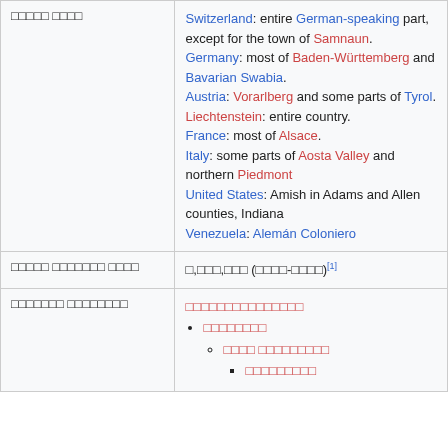| Col1 | Col2 |
| --- | --- |
| □□□□□ □□□□ | Switzerland: entire German-speaking part, except for the town of Samnaun.
Germany: most of Baden-Württemberg and Bavarian Swabia.
Austria: Vorarlberg and some parts of Tyrol.
Liechtenstein: entire country.
France: most of Alsace.
Italy: some parts of Aosta Valley and northern Piedmont
United States: Amish in Adams and Allen counties, Indiana
Venezuela: Alemán Coloniero |
| □□□□□ □□□□□□□ □□□□ | □,□□□,□□□ (□□□□-□□□□)[1] |
| □□□□□□□ □□□□□□□□ | □□□□□□□□□□□□□□
• □□□□□□□□
  ○ □□□□ □□□□□□□□□
    ■ □□□□□□□□□ |